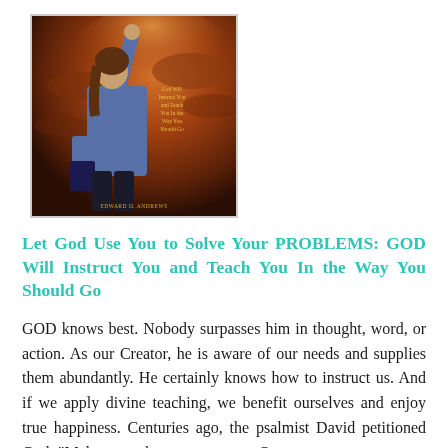[Figure (photo): Book cover showing a woman with arm raised against a dramatic orange/brown sky, holding a book. Title text visible on cover. Author: Edward D. Andrews.]
Let God Use You to Solve Your PROBLEMS: GOD Will Instruct You and Teach You In the Way You Should Go
GOD knows best. Nobody surpasses him in thought, word, or action. As our Creator, he is aware of our needs and supplies them abundantly. He certainly knows how to instruct us. And if we apply divine teaching, we benefit ourselves and enjoy true happiness. Centuries ago, the psalmist David petitioned God: "Make me to know your ways, O